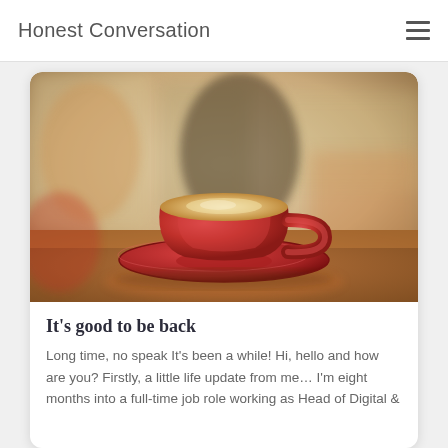Honest Conversation
[Figure (photo): A red coffee cup on a saucer sitting on a wooden table, with a blurred cafe background. The cup contains a latte or cappuccino with cream.]
It's good to be back
Long time, no speak It's been a while! Hi, hello and how are you? Firstly, a little life update from me… I'm eight months into a full-time job role working as Head of Digital &